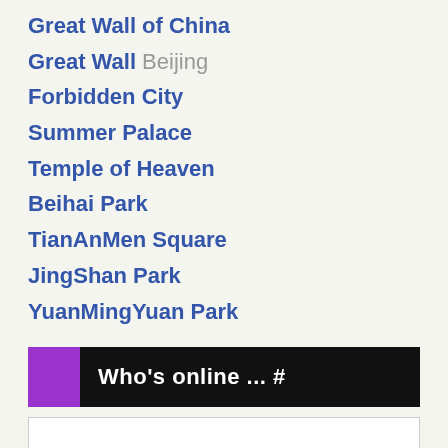Great Wall of China
Great Wall Beijing
Forbidden City
Summer Palace
Temple of Heaven
Beihai Park
TianAnMen Square
JingShan Park
YuanMingYuan Park
Who's online ... #
Return to main China travel and